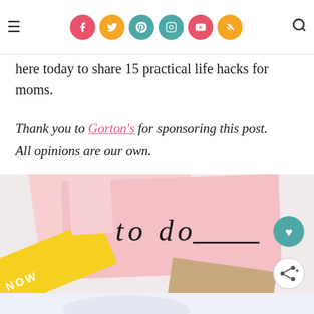Navigation bar with hamburger menu, social icons (Facebook, Twitter, Pinterest, Instagram, YouTube, RSS), and search icon
here today to share 15 practical life hacks for moms.
Thank you to Gorton's for sponsoring this post. All opinions are our own.
[Figure (photo): Colorful sticky notes on a white surface. A pink sticky note reads 'to do' in cursive handwriting. A yellow sticky note reads 'NOW'. A tan/kraft sticky note is partially visible. Teal heart and white share buttons overlay the image.]